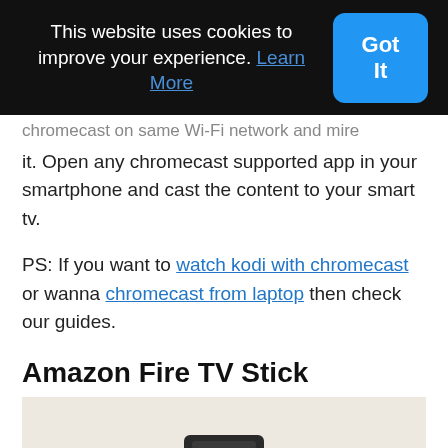This website uses cookies to improve your experience. Learn More
Got It
chromecast on same Wi-Fi network and mire it. Open any chromecast supported app in your smartphone and cast the content to your smart tv.
PS: If you want to watch kodi with chromecast or wanna chromecast from laptop then check our guides.
Amazon Fire TV Stick
[Figure (photo): Photo of Amazon Fire TV Stick device on a light fabric background, partially visible]